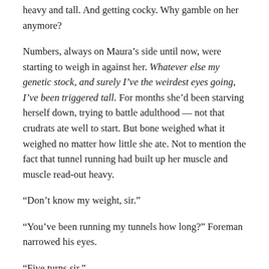heavy and tall. And getting cocky. Why gamble on her anymore?
Numbers, always on Maura's side until now, were starting to weigh in against her. Whatever else my genetic stock, and surely I've the weirdest eyes going, I've been triggered tall. For months she'd been starving herself down, trying to battle adulthood — not that crudrats ate well to start. But bone weighed what it weighed no matter how little she ate. Not to mention the fact that tunnel running had built up her muscle and muscle read-out heavy.
“Don’t know my weight, sir.”
“You’ve been running my tunnels how long?” Foreman narrowed his eyes.
“Five turns sir.”
The foreman looked genuinely surprised at that.